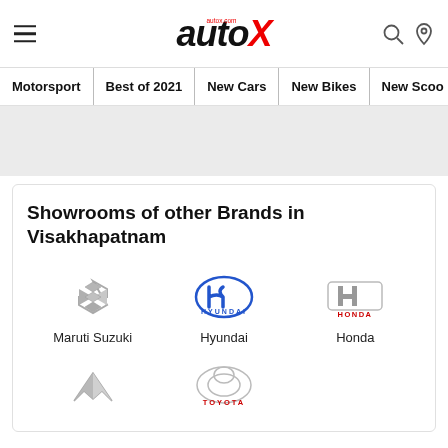autoX — Motorsport | Best of 2021 | New Cars | New Bikes | New Scoo
[Figure (screenshot): autoX website navigation bar with hamburger menu, autoX logo, search and location icons, and navigation links: Motorsport, Best of 2021, New Cars, New Bikes, New Scoo]
Showrooms of other Brands in Visakhapatnam
[Figure (logo): Maruti Suzuki logo]
Maruti Suzuki
[Figure (logo): Hyundai logo]
Hyundai
[Figure (logo): Honda logo]
Honda
[Figure (logo): Mahindra (MG) logo]
[Figure (logo): Toyota logo]